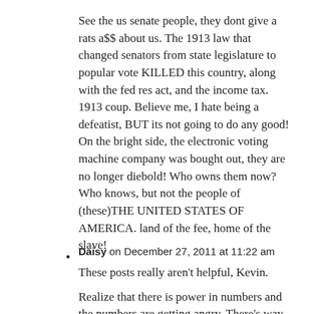See the us senate people, they dont give a rats a$$ about us. The 1913 law that changed senators from state legislature to popular vote KILLED this country, along with the fed res act, and the income tax. 1913 coup. Believe me, I hate being a defeatist, BUT its not going to do any good! On the bright side, the electronic voting machine company was bought out, they are no longer diebold! Who owns them now? Who knows, but not the people of (these)THE UNITED STATES OF AMERICA. land of the fee, home of the slave!
Daisy on December 27, 2011 at 11:22 am
These posts really aren't helpful, Kevin.
Realize that there is power in numbers and the numbers are getting angry. There's way more ticked off Americans than there are members of Congress. These actions can only help draw attention to the power grab that is going on in the